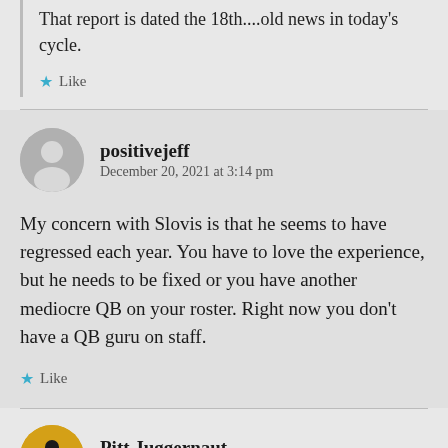That report is dated the 18th....old news in today's cycle.
Like
positivejeff
December 20, 2021 at 3:14 pm
My concern with Slovis is that he seems to have regressed each year. You have to love the experience, but he needs to be fixed or you have another mediocre QB on your roster. Right now you don't have a QB guru on staff.
Like
Pitt Juggernaut
December 20, 2021 at 7:42